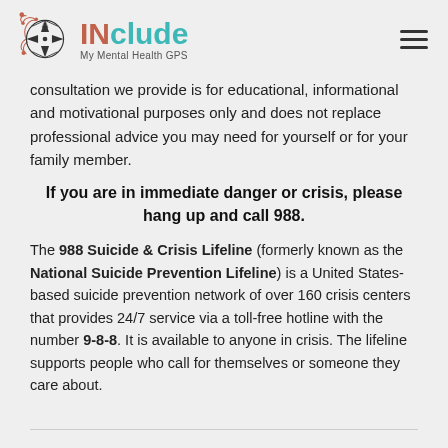INclude My Mental Health GPS
consultation we provide is for educational, informational and motivational purposes only and does not replace professional advice you may need for yourself or for your family member.
If you are in immediate danger or crisis, please hang up and call 988.
The 988 Suicide & Crisis Lifeline (formerly known as the National Suicide Prevention Lifeline) is a United States-based suicide prevention network of over 160 crisis centers that provides 24/7 service via a toll-free hotline with the number 9-8-8. It is available to anyone in crisis. The lifeline supports people who call for themselves or someone they care about.